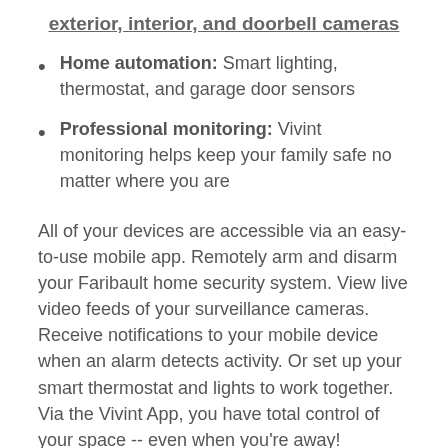exterior, interior, and doorbell cameras
Home automation: Smart lighting, thermostat, and garage door sensors
Professional monitoring: Vivint monitoring helps keep your family safe no matter where you are
All of your devices are accessible via an easy-to-use mobile app. Remotely arm and disarm your Faribault home security system. View live video feeds of your surveillance cameras. Receive notifications to your mobile device when an alarm detects activity. Or set up your smart thermostat and lights to work together. Via the Vivint App, you have total control of your space -- even when you're away!